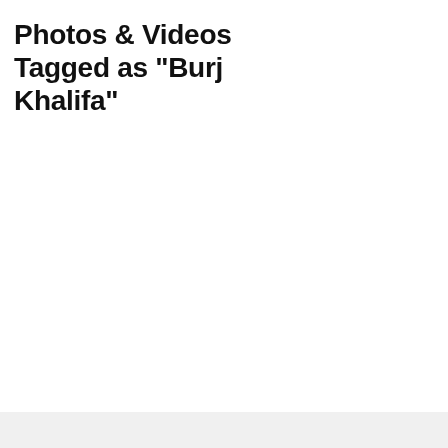Photos & Videos Tagged as "Burj Khalifa"